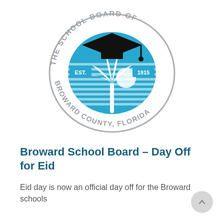[Figure (logo): The School Board of Broward County, Florida official seal logo. Features a graduation cap, apple/fruit shape with palm tree and sun design in blue, 'EST.' and '1915' labels in blue rectangles, and circular text reading 'THE SCHOOL BOARD OF BROWARD COUNTY, FLORIDA' in gray/silver.]
Broward School Board – Day Off for Eid
Eid day is now an official day off for the Broward schools